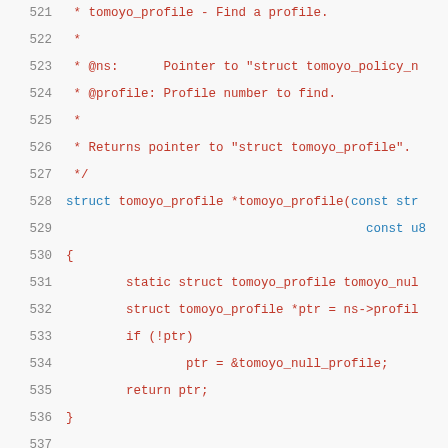Source code listing, lines 521-541, showing tomoyo_profile function definition and documentation comments in C.